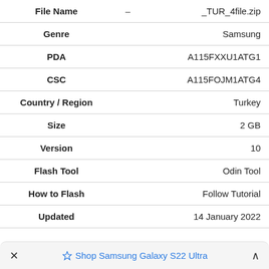| Field |  | Value |
| --- | --- | --- |
| File Name | - | _TUR_4file.zip |
| Genre |  | Samsung |
| PDA |  | A115FXXU1ATG1 |
| CSC |  | A115FOJM1ATG4 |
| Country / Region |  | Turkey |
| Size |  | 2 GB |
| Version |  | 10 |
| Flash Tool |  | Odin Tool |
| How to Flash |  | Follow Tutorial |
| Updated |  | 14 January 2022 |
× ♦ Shop Samsung Galaxy S22 Ultra ^